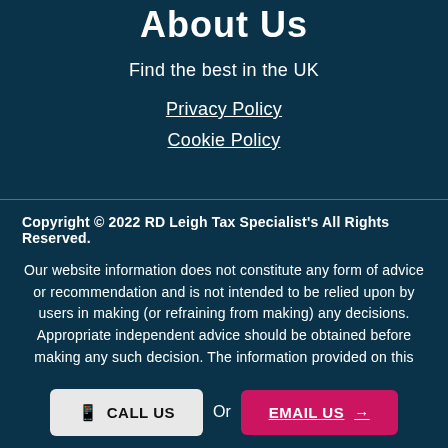About Us
Find the best in the UK
Privacy Policy
Cookie Policy
Copyright © 2022 RD Leigh Tax Specialist's All Rights Reserved.
Our website information does not constitute any form of advice or recommendation and is not intended to be relied upon by users in making (or refraining from making) any decisions. Appropriate independent advice should be obtained before making any such decision. The information provided on this
CALL US
Or
EMAIL US →